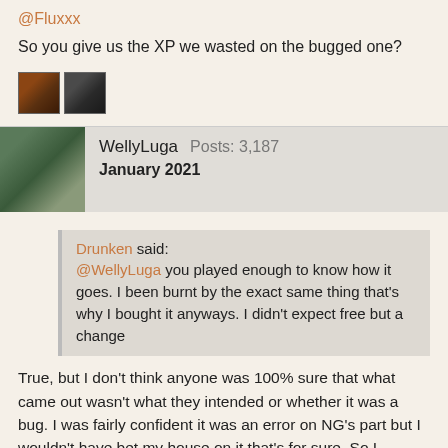@Fluxxx
So you give us the XP we wasted on the bugged one?
[Figure (photo): Two small reaction/like images from forum users]
WellyLuga   Posts: 3,187
January 2021
Drunken said:
@WellyLuga you played enough to know how it goes. I been burnt by the exact same thing that's why I bought it anyways. I didn't expect free but a change
True, but I don't think anyone was 100% sure that what came out wasn't what they intended or whether it was a bug. I was fairly confident it was an error on NG's part but I wouldn't have bet my house on it that's for sure. So I decided to sensibly wait and instead am 2